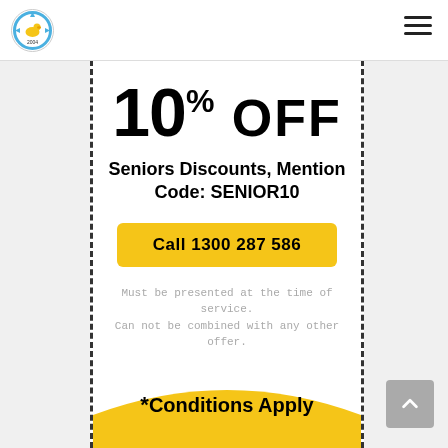[Figure (logo): Circular logo with arrows and a duck/bird icon, blue and yellow]
10% OFF
Seniors Discounts, Mention Code: SENIOR10
Call 1300 287 586
Must be presented at the time of service. Can not be combined with any other offer.
*Conditions Apply